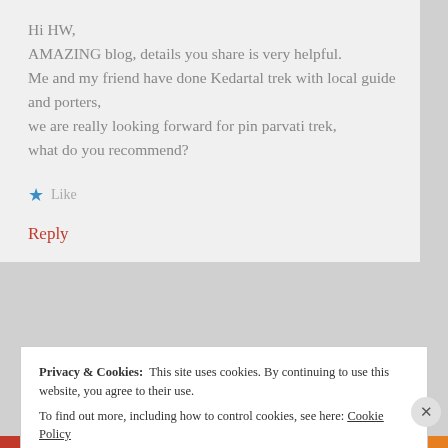Hi HW,
AMAZING blog, details you share is very helpful.
Me and my friend have done Kedartal trek with local guide and porters,
we are really looking forward for pin parvati trek,
what do you recommend?
Like
Reply
Privacy & Cookies:  This site uses cookies. By continuing to use this website, you agree to their use.
To find out more, including how to control cookies, see here: Cookie Policy
Close and accept